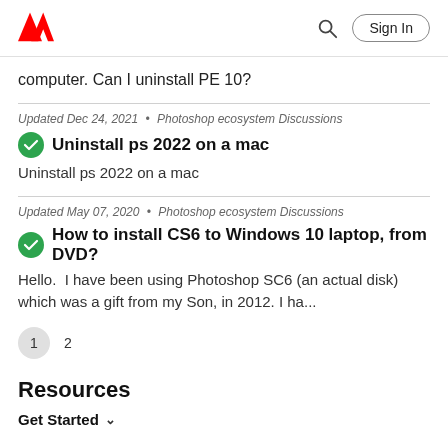Adobe | Sign In
computer. Can I uninstall PE 10?
Updated Dec 24, 2021 • Photoshop ecosystem Discussions
Uninstall ps 2022 on a mac
Uninstall ps 2022 on a mac
Updated May 07, 2020 • Photoshop ecosystem Discussions
How to install CS6 to Windows 10 laptop, from DVD?
Hello.  I have been using Photoshop SC6 (an actual disk) which was a gift from my Son, in 2012. I ha...
1  2
Resources
Get Started